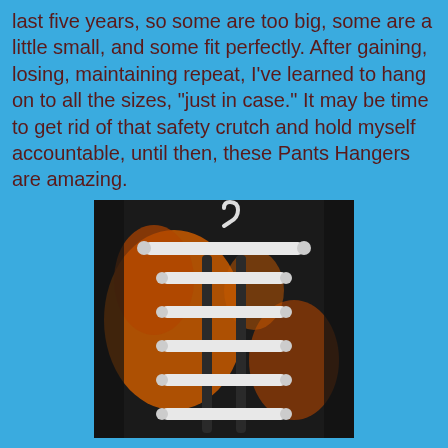last five years, so some are too big, some are a little small, and some fit perfectly. After gaining, losing, maintaining repeat, I've learned to hang on to all the sizes, "just in case." It may be time to get rid of that safety crutch and hold myself accountable, until then, these Pants Hangers are amazing.
[Figure (photo): A multi-bar pants hanger (white plastic ladder-style hanger with 6 horizontal bars) displayed against a dark fabric background with orange design]